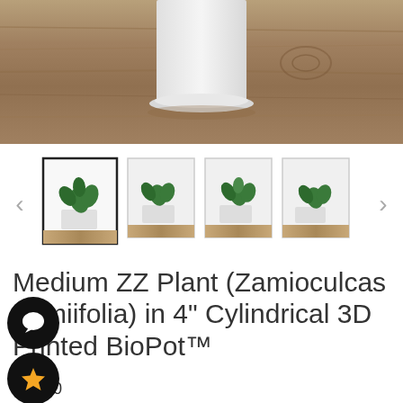[Figure (photo): Close-up product photo of a white cylindrical pot on a rustic wood surface, bottom portion of pot visible against wood grain background]
[Figure (photo): Thumbnail gallery row showing 4 product images of ZZ plant in white cylindrical pot, with navigation arrows on each side. First thumbnail is selected/active.]
Medium ZZ Plant (Zamioculcas Zamiifolia) in 4" Cylindrical 3D Printed BioPot™
$35.00